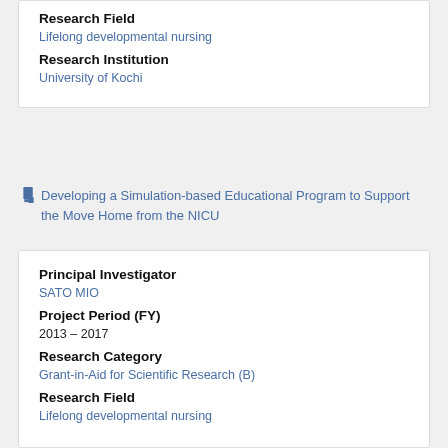Research Field
Lifelong developmental nursing
Research Institution
University of Kochi
Developing a Simulation-based Educational Program to Support the Move Home from the NICU
Principal Investigator
SATO MIO
Project Period (FY)
2013 – 2017
Research Category
Grant-in-Aid for Scientific Research (B)
Research Field
Lifelong developmental nursing